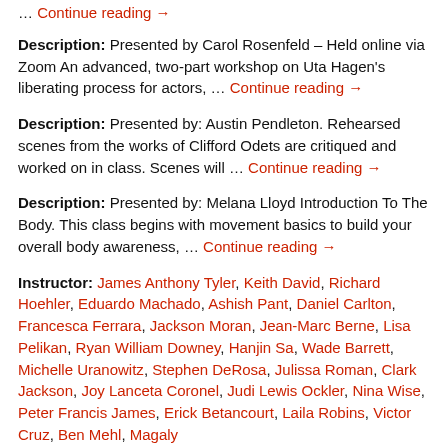… Continue reading →
Description: Presented by Carol Rosenfeld – Held online via Zoom An advanced, two-part workshop on Uta Hagen's liberating process for actors, … Continue reading →
Description: Presented by: Austin Pendleton. Rehearsed scenes from the works of Clifford Odets are critiqued and worked on in class. Scenes will … Continue reading →
Description: Presented by: Melana Lloyd Introduction To The Body. This class begins with movement basics to build your overall body awareness, … Continue reading →
Instructor: James Anthony Tyler, Keith David, Richard Hoehler, Eduardo Machado, Ashish Pant, Daniel Carlton, Francesca Ferrara, Jackson Moran, Jean-Marc Berne, Lisa Pelikan, Ryan William Downey, Hanjin Sa, Wade Barrett, Michelle Uranowitz, Stephen DeRosa, Julissa Roman, Clark Jackson, Joy Lanceta Coronel, Judi Lewis Ockler, Nina Wise, Peter Francis James, Erick Betancourt, Laila Robins, Victor Cruz, Ben Mehl, Magaly